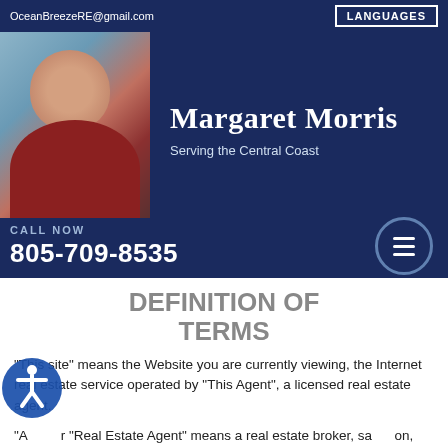OceanBreezeRE@gmail.com | LANGUAGES
Margaret Morris
Serving the Central Coast
CALL NOW
805-709-8535
DEFINITION OF TERMS
"This site" means the Website you are currently viewing, the Internet real estate service operated by "This Agent", a licensed real estate agent.
"Agent" or "Real Estate Agent" means a real estate broker, salesperson, agent, associate broker, or similar state licensed real estate professional.